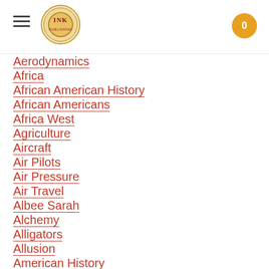INK logo navigation header with hamburger menu and cart button showing 0
Aerodynamics
Africa
African American History
African Americans
Africa West
Agriculture
Aircraft
Air Pilots
Air Pressure
Air Travel
Albee Sarah
Alchemy
Alligators
Allusion
American History